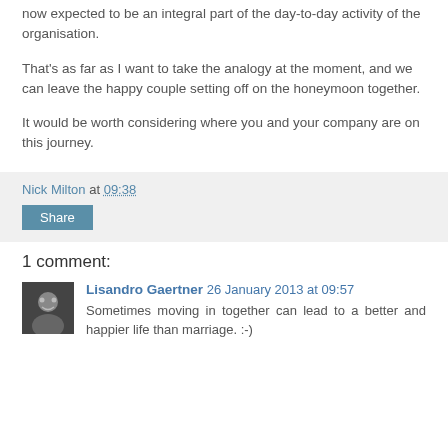now expected to be an integral part of the day-to-day activity of the organisation.
That's as far as I want to take the analogy at the moment, and we can leave the happy couple setting off on the honeymoon together.
It would be worth considering where you and your company are on this journey.
Nick Milton at 09:38
Share
1 comment:
Lisandro Gaertner 26 January 2013 at 09:57
Sometimes moving in together can lead to a better and happier life than marriage. :-)